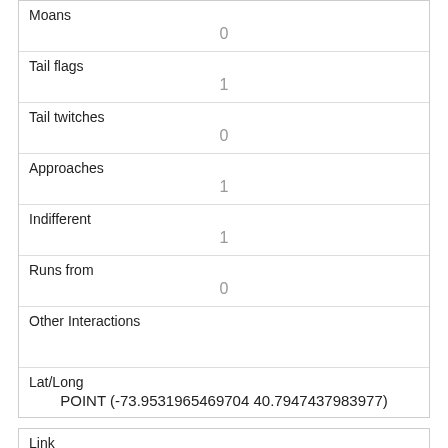| Moans | 0 |
| Tail flags | 1 |
| Tail twitches | 0 |
| Approaches | 1 |
| Indifferent | 1 |
| Runs from | 0 |
| Other Interactions |  |
| Lat/Long | POINT (-73.9531965469704 40.7947437983977) |
| Link | 74 |
| rowid | 74 |